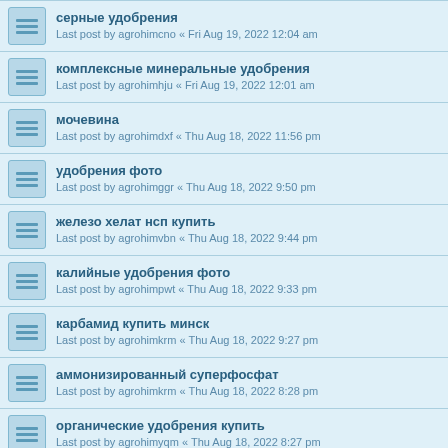серные удобрения
Last post by agrohimcno « Fri Aug 19, 2022 12:04 am
комплексные минеральные удобрения
Last post by agrohimhju « Fri Aug 19, 2022 12:01 am
мочевина
Last post by agrohimdxf « Thu Aug 18, 2022 11:56 pm
удобрения фото
Last post by agrohimggr « Thu Aug 18, 2022 9:50 pm
железо хелат нсп купить
Last post by agrohimvbn « Thu Aug 18, 2022 9:44 pm
калийные удобрения фото
Last post by agrohimpwt « Thu Aug 18, 2022 9:33 pm
карбамид купить минск
Last post by agrohimkrm « Thu Aug 18, 2022 9:27 pm
аммонизированный суперфосфат
Last post by agrohimkrm « Thu Aug 18, 2022 8:28 pm
органические удобрения купить
Last post by agrohimyqm « Thu Aug 18, 2022 8:27 pm
поставка удобрений
Last post by agrohimfrz « Thu Aug 18, 2022 8:18 pm
калийные удобрения их применение
Last post by agrohimcmn « Thu Aug 18, 2022 7:32 pm
фосфорные удобрения
(partial)